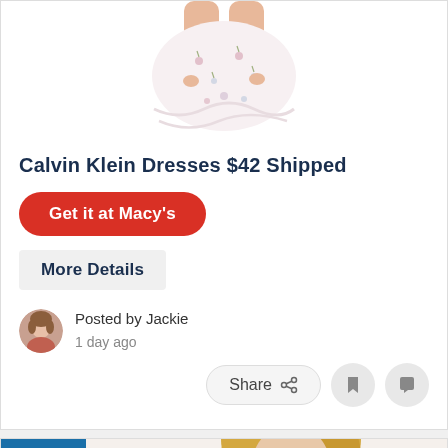[Figure (photo): Woman wearing Calvin Klein floral dress, cropped to show lower body/skirt area]
Calvin Klein Dresses $42 Shipped
Get it at Macy's
More Details
Posted by Jackie
1 day ago
Share
[Figure (photo): Blonde woman wearing denim/light blue jacket, cropped to show upper body, with NEW badge overlay]